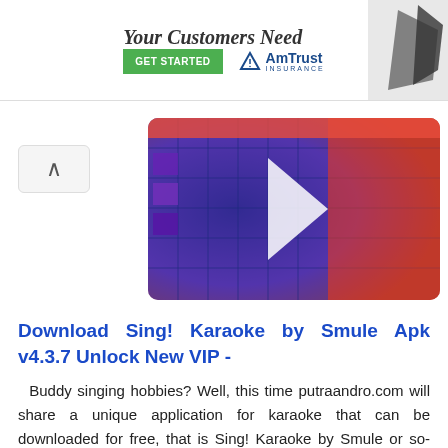[Figure (screenshot): Advertisement banner with 'Your Customers Need' text, GET STARTED green button, AmTrust Insurance logo, and a dark silhouette image on the right]
[Figure (screenshot): Karaoke app promotional image with colorful purple, blue and red background with disco ball elements]
Download Sing! Karaoke by Smule Apk v4.3.7 Unlock New VIP -
Buddy singing hobbies? Well, this time putraandro.com will share a unique application for karaoke that can be downloaded for free, that is Sing! Karaoke by Smule or so-called Sing Smule. This application is very popular and has a lot of memakainnya, my friend can see there banya video on youtube hasi from app Smule Apk
Sing! Karaoke by Smule is an online karaoke app developed